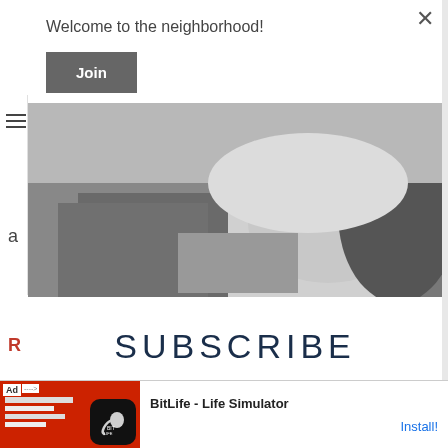Welcome to the neighborhood!
Join
[Figure (photo): Black and white photo of a person sitting, wearing jeans and a white shirt, holding something, with dark curly hair visible on the right side.]
SUBSCRIBE
Sign up with your email address to receive news and updates.
[Figure (screenshot): Advertisement banner at the bottom of the page for BitLife - Life Simulator app, with an Ad label, red background image on the left, and Install button on the right.]